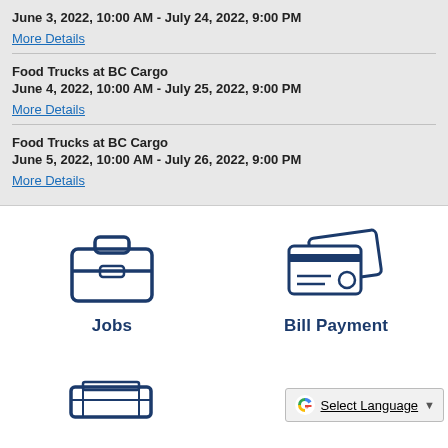June 3, 2022, 10:00 AM - July 24, 2022, 9:00 PM
More Details
Food Trucks at BC Cargo
June 4, 2022, 10:00 AM - July 25, 2022, 9:00 PM
More Details
Food Trucks at BC Cargo
June 5, 2022, 10:00 AM - July 26, 2022, 9:00 PM
More Details
[Figure (illustration): Briefcase icon representing Jobs]
Jobs
[Figure (illustration): Credit card icon representing Bill Payment]
Bill Payment
[Figure (illustration): Partial printer icon at bottom left]
Select Language